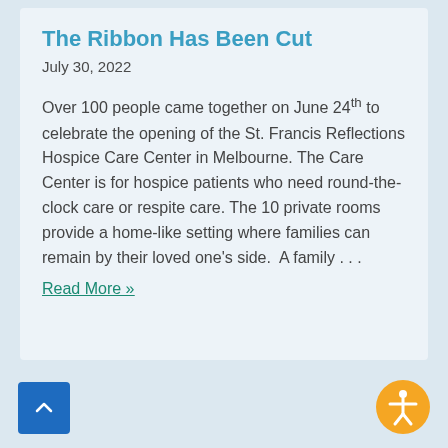The Ribbon Has Been Cut
July 30, 2022
Over 100 people came together on June 24th to celebrate the opening of the St. Francis Reflections Hospice Care Center in Melbourne. The Care Center is for hospice patients who need round-the-clock care or respite care. The 10 private rooms provide a home-like setting where families can remain by their loved one's side.  A family ...
Read More »